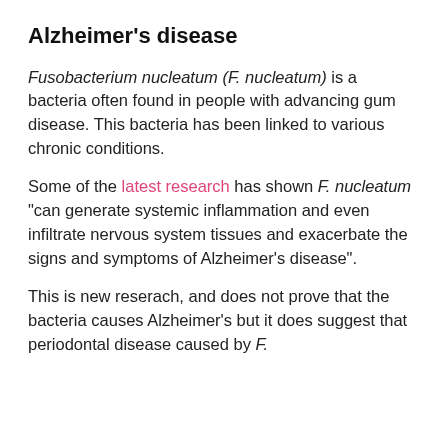Alzheimer's disease
Fusobacterium nucleatum (F. nucleatum) is a bacteria often found in people with advancing gum disease. This bacteria has been linked to various chronic conditions.
Some of the latest research has shown F. nucleatum “can generate systemic inflammation and even infiltrate nervous system tissues and exacerbate the signs and symptoms of Alzheimer’s disease”.
This is new reserach, and does not prove that the bacteria causes Alzheimer’s but it does suggest that periodontal disease caused by F. nucleatum could often to be detected.